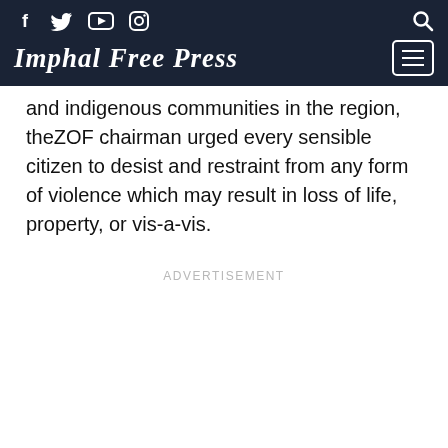Imphal Free Press
and indigenous communities in the region, theZOF chairman urged every sensible citizen to desist and restraint from any form of violence which may result in loss of life, property, or vis-a-vis.
ADVERTISEMENT